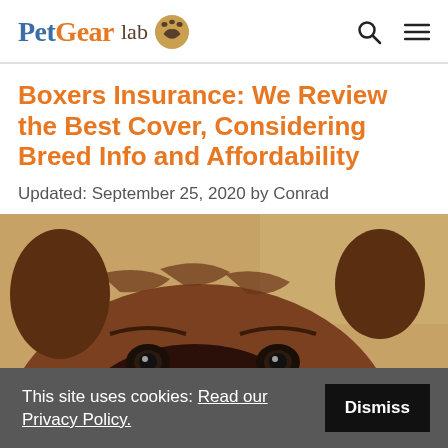Pet Gear lab 🐾
Boxers Insurance: We Review the Best Cover, Considering Breed Info and Affordability
Updated: September 25, 2020 by Conrad
[Figure (photo): Close-up photo of a Boxer dog's face peering over a surface, brown and black coloring, blurred outdoor background]
This site uses cookies: Read our Privacy Policy.